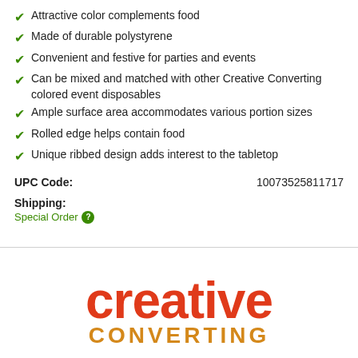Attractive color complements food
Made of durable polystyrene
Convenient and festive for parties and events
Can be mixed and matched with other Creative Converting colored event disposables
Ample surface area accommodates various portion sizes
Rolled edge helps contain food
Unique ribbed design adds interest to the tabletop
UPC Code: 10073525811717
Shipping: Special Order
[Figure (logo): Creative Converting logo with 'creative' in large red bold text and 'CONVERTING' in orange below it]